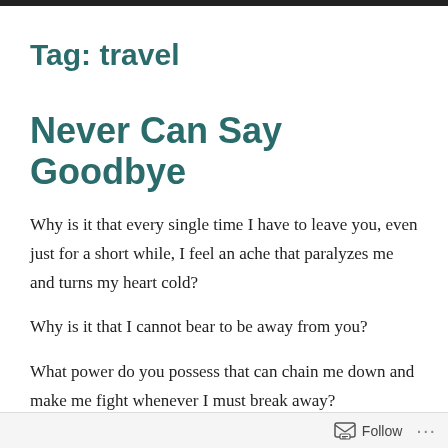Tag: travel
Never Can Say Goodbye
Why is it that every single time I have to leave you, even just for a short while, I feel an ache that paralyzes me and turns my heart cold?
Why is it that I cannot bear to be away from you?
What power do you possess that can chain me down and make me fight whenever I must break away?
Follow